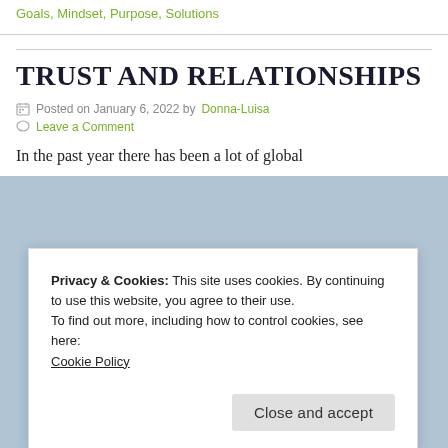Goals, Mindset, Purpose, Solutions
TRUST AND RELATIONSHIPS
Posted on January 6, 2022 by Donna-Luisa
Leave a Comment
In the past year there has been a lot of global
Privacy & Cookies: This site uses cookies. By continuing to use this website, you agree to their use. To find out more, including how to control cookies, see here: Cookie Policy
Close and accept